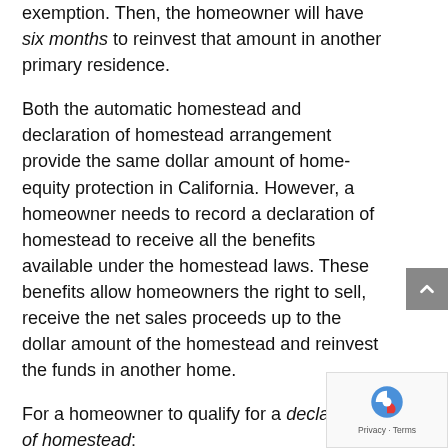exemption. Then, the homeowner will have six months to reinvest that amount in another primary residence.
Both the automatic homestead and declaration of homestead arrangement provide the same dollar amount of home-equity protection in California. However, a homeowner needs to record a declaration of homestead to receive all the benefits available under the homestead laws. These benefits allow homeowners the right to sell, receive the net sales proceeds up to the dollar amount of the homestead and reinvest the funds in another home.
For a homeowner to qualify for a declaration of homestead:
they need to occupy the home as